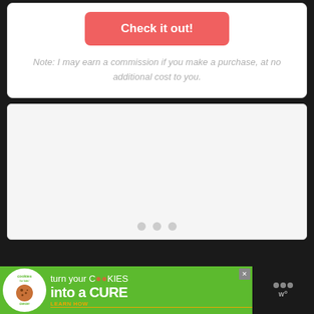[Figure (screenshot): Red rounded button labeled 'Check it out!']
Note: I may earn a commission if you make a purchase, at no additional cost to you.
[Figure (screenshot): Gray slideshow/carousel placeholder with three pagination dots at bottom]
[Figure (screenshot): Green advertisement banner: 'cookies for kids cancer — turn your COOKIES into a CURE LEARN HOW' with close X button, on dark background with Toolbelt logo on right]